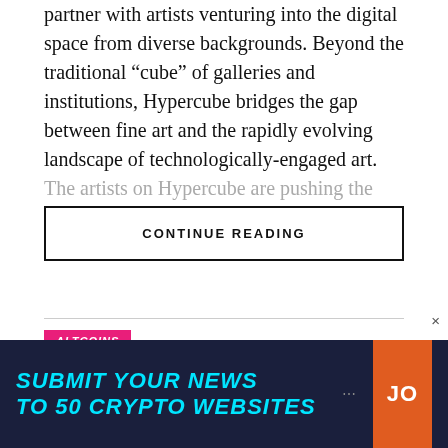partner with artists venturing into the digital space from diverse backgrounds. Beyond the traditional “cube” of galleries and institutions, Hypercube bridges the gap between fine art and the rapidly evolving landscape of technologically-engaged art. The artists on Hypercube are pushing the boundaries of technology and pioneering a new genre of art, powered by the advanced
CONTINUE READING
ALTCOINS
Hxro Network Launches Derivatives
[Figure (screenshot): Advertisement banner with dark navy background. Text reads SUBMIT YOUR NEWS TO 50 CRYPTO WEBSITES in cyan italic bold font. Orange CTA button on right with text JO. Close X button top right.]